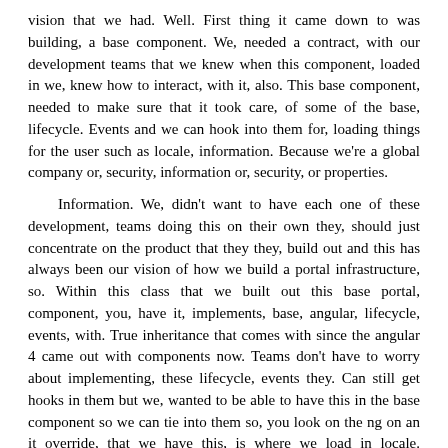vision that we had. Well. First thing it came down to was building, a base component. We, needed a contract, with our development teams that we knew when this component, loaded in we, knew how to interact, with it, also. This base component, needed to make sure that it took care, of some of the base, lifecycle. Events and we can hook into them for, loading things for the user such as locale, information. Because we're a global company or, security, information or, security, or properties.
Information. We, didn't want to have each one of these development, teams doing this on their own they, should just concentrate on the product that they they, build out and this has always been our vision of how we build a portal infrastructure, so. Within this class that we built out this base portal, component, you, have it, implements, base, angular, lifecycle, events, with. True inheritance that comes with since the angular 4 came out with components now. Teams don't have to worry about implementing, these lifecycle, events they. Can still get hooks in them but we, wanted to be able to have this in the base component so we can tie into them so, you look on the ng on an it override, that we have this, is where we load in locale. Information, that's been specified by the implementing, component, security. Information and properties, information, and then, based off this component, I'll show on the next slide they have hooks into when this information, is loaded so they can react to it within their implemented, view also. Within here we have a component. Service, taking advantage of dependency, injection, this. Allows us on this component service it binds multiple. Services into it so then its dependency, injected into our base component, for things such as routing, and other, services, we need to call an our base component, so. Now we have this base component, ready to go the teams can implement and go from there and they can rely on knowing, that they have this base functionality, they can take advantage of so how does a team implement. This so. Now the